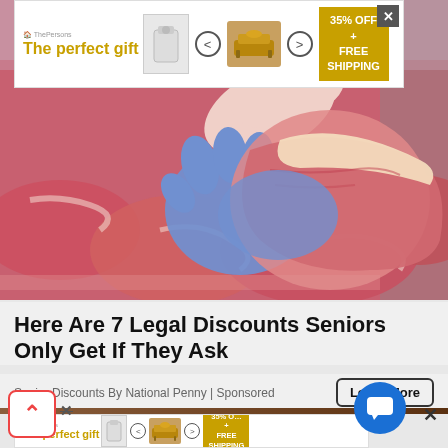[Figure (other): Advertisement banner at top: 'The perfect gift' with product images, navigation arrows, and '35% OFF + FREE SHIPPING' offer badge. Close X button on right.]
[Figure (photo): Photo of raw meat cuts in a butcher display case. A person wearing blue latex gloves is holding up a large cut of beef/pork. Multiple red meat cuts visible in background.]
Here Are 7 Legal Discounts Seniors Only Get If They Ask
Senior Discounts By National Penny | Sponsored
Learn More
[Figure (other): Second smaller advertisement banner at bottom: 'The perfect gift' repeated with same product images and '35% OFF + FREE SHIPPING' badge.]